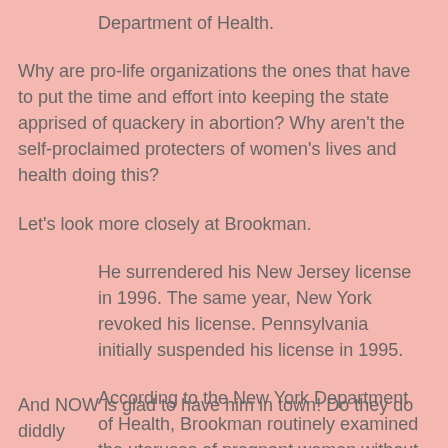Department of Health.
Why are pro-life organizations the ones that have to put the time and effort into keeping the state apprised of quackery in abortion? Why aren't the self-proclaimed protecters of women's lives and health doing this?
Let's look more closely at Brookman.
He surrendered his New Jersey license in 1996. The same year, New York revoked his license. Pennsylvania initially suspended his license in 1995.
According to the New York Department of Health, Brookman routinely examined the uteruses of pregnant women without a medical reason. He was also found guilty of maintaining inadequate patient records and altering others.
And NOW is glad to have him in town! Do they do diddly